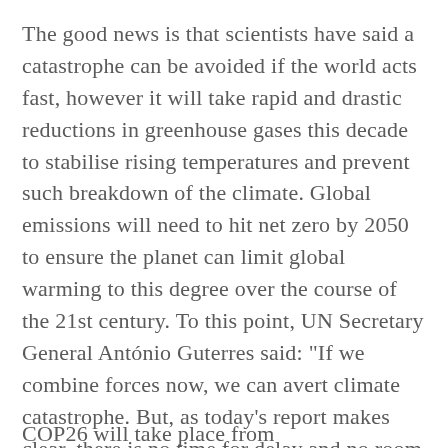The good news is that scientists have said a catastrophe can be avoided if the world acts fast, however it will take rapid and drastic reductions in greenhouse gases this decade to stabilise rising temperatures and prevent such breakdown of the climate. Global emissions will need to hit net zero by 2050 to ensure the planet can limit global warming to this degree over the course of the 21st century. To this point, UN Secretary General António Guterres said: "If we combine forces now, we can avert climate catastrophe. But, as today's report makes clear, there is no time for delay and no room for excuses. I count on government leaders and all stakeholders to ensure COP26 is a success."